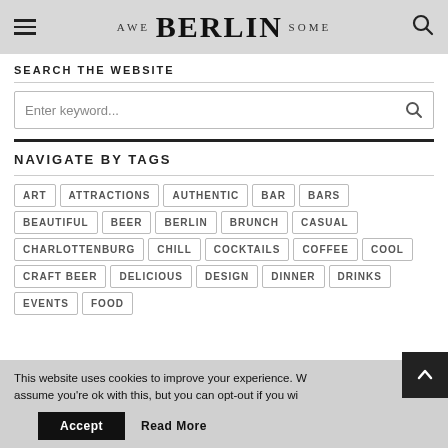AWE BERLIN SOME
SEARCH THE WEBSITE
Enter keyword...
NAVIGATE BY TAGS
ART
ATTRACTIONS
AUTHENTIC
BAR
BARS
BEAUTIFUL
BEER
BERLIN
BRUNCH
CASUAL
CHARLOTTENBURG
CHILL
COCKTAILS
COFFEE
COOL
CRAFT BEER
DELICIOUS
DESIGN
DINNER
DRINKS
EVENTS
FOOD
This website uses cookies to improve your experience. We assume you're ok with this, but you can opt-out if you wish.